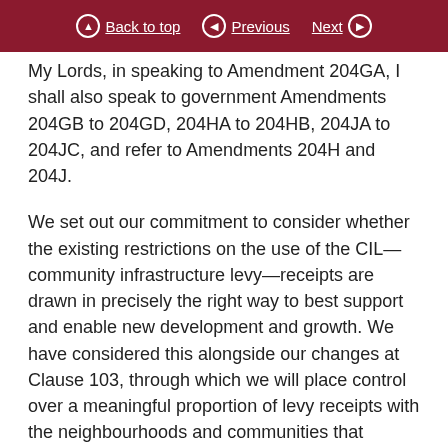Back to top | Previous | Next
My Lords, in speaking to Amendment 204GA, I shall also speak to government Amendments 204GB to 204GD, 204HA to 204HB, 204JA to 204JC, and refer to Amendments 204H and 204J.
We set out our commitment to consider whether the existing restrictions on the use of the CIL—community infrastructure levy—receipts are drawn in precisely the right way to best support and enable new development and growth. We have considered this alongside our changes at Clause 103, through which we will place control over a meaningful proportion of levy receipts with the neighbourhoods and communities that accept new development and growth. We are consulting on our proposals to use the powers to require local authorities to pass on a